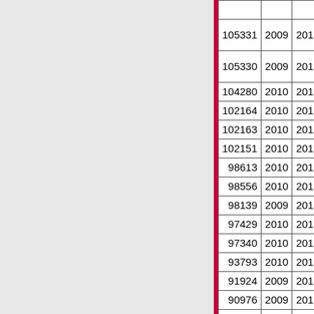| ID | Year1 | Year2 | Country |
| --- | --- | --- | --- |
| 105331 | 2009 | 2010 | United States |
| 105330 | 2009 | 2010 | United States |
| 104280 | 2010 | 2010 | Canada |
| 102164 | 2010 | 2010 | Canada |
| 102163 | 2010 | 2010 | Canada |
| 102151 | 2010 | 2010 | Canada |
| 98613 | 2010 | 2010 | Spain |
| 98556 | 2010 | 2010 | Canada |
| 98139 | 2009 | 2010 | Sweden |
| 97429 | 2010 | 2010 | Spain |
| 97340 | 2010 | 2010 | Spain |
| 93793 | 2010 | 2010 | Canada |
| 91924 | 2009 | 2010 | Norway |
| 90976 | 2009 | 2010 | Norway |
| 80611 | 2009 | 2009 | South Africa |
| 76705 | 2009 | 2009 | Norway |